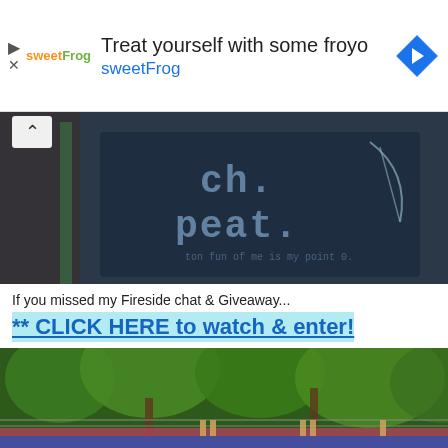[Figure (screenshot): Advertisement banner: sweetFrog logo on left, text 'Treat yourself with some froyo' and 'sweetFrog', navigation arrow diamond icon on right]
[Figure (photo): Dark blue shirt or bag with cross-stitch text reading 'ch. peat.' in a craft/needlework style with additional smaller text]
If you missed my Fireside chat & Giveaway...
** CLICK HERE to watch & enter!
[Figure (photo): Outdoor photo showing trees with green foliage and what appears to be a decorative banner or bunting strung between trees]